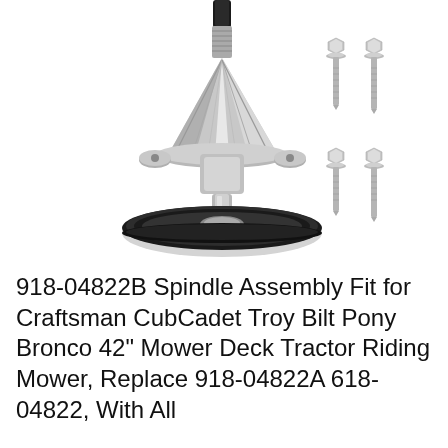[Figure (photo): Product photo of a 918-04822B spindle assembly (silver conical metal spindle with black pulley wheel at bottom) accompanied by four hex head bolts/screws arranged in two pairs on the right side, all on white background.]
918-04822B Spindle Assembly Fit for Craftsman CubCadet Troy Bilt Pony Bronco 42" Mower Deck Tractor Riding Mower, Replace 918-04822A 618-04822, With All